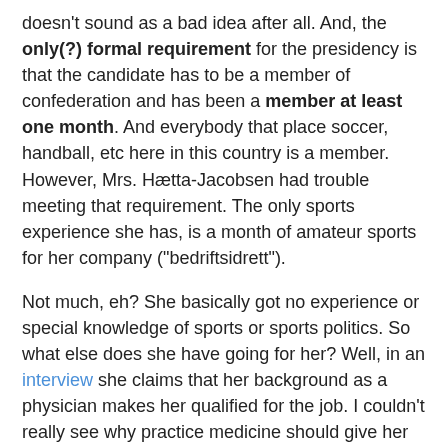doesn't sound as a bad idea after all. And, the only(?) formal requirement for the presidency is that the candidate has to be a member of confederation and has been a member at least one month. And everybody that place soccer, handball, etc here in this country is a member. However, Mrs. Hætta-Jacobsen had trouble meeting that requirement. The only sports experience she has, is a month of amateur sports for her company ("bedriftsidrett").
Not much, eh? She basically got no experience or special knowledge of sports or sports politics. So what else does she have going for her? Well, in an interview she claims that her background as a physician makes her qualified for the job. I couldn't really see why practice medicine should give her extra competence as an administrative leader, but I guess that if she has background as a sports physician, I could see the benefit. So I check. She is actually a district physician in Harstad. How is that relevant at all? According her, because "her job as a physician has made her realize that activity is important". Did she have to go 18 years at school and practice medicine a couple of years before realizing that?